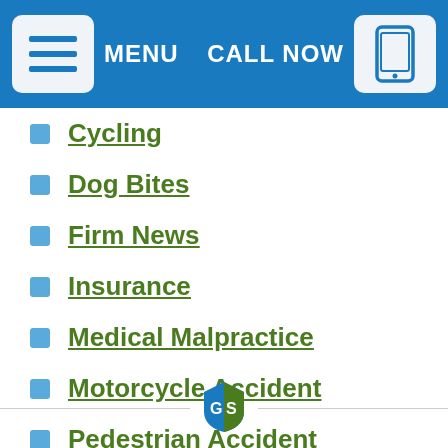MENU | CALL NOW
Cycling
Dog Bites
Firm News
Insurance
Medical Malpractice
Motorcycle Accident
Pedestrian Accident
Personal Injury
Personal Safety
Senior Safety
[Figure (logo): GS shield logo with blue and green halves, letters G and S in white]